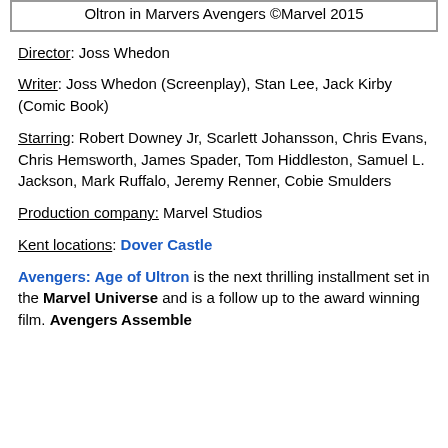Oltron in Marvers Avengers ©Marvel 2015
Director: Joss Whedon
Writer: Joss Whedon (Screenplay), Stan Lee, Jack Kirby (Comic Book)
Starring: Robert Downey Jr, Scarlett Johansson, Chris Evans, Chris Hemsworth, James Spader, Tom Hiddleston, Samuel L. Jackson, Mark Ruffalo, Jeremy Renner, Cobie Smulders
Production company: Marvel Studios
Kent locations: Dover Castle
Avengers: Age of Ultron is the next thrilling installment set in the Marvel Universe and is a follow up to the award winning film. Avengers Assemble